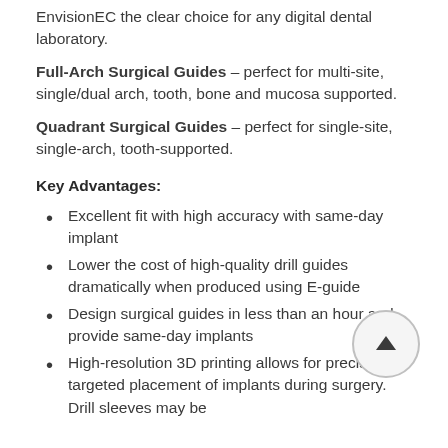EnvisionEC the clear choice for any digital dental laboratory.
Full-Arch Surgical Guides – perfect for multi-site, single/dual arch, tooth, bone and mucosa supported.
Quadrant Surgical Guides – perfect for single-site, single-arch, tooth-supported.
Key Advantages:
Excellent fit with high accuracy with same-day implant
Lower the cost of high-quality drill guides dramatically when produced using E-guide
Design surgical guides in less than an hour and provide same-day implants
High-resolution 3D printing allows for precisely targeted placement of implants during surgery. Drill sleeves may be